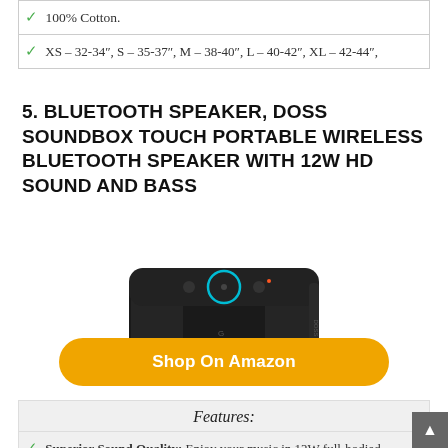100% Cotton.
XS – 32-34", S – 35-37", M – 38-40", L – 40-42", XL – 42-44",
5. BLUETOOTH SPEAKER, DOSS SOUNDBOX TOUCH PORTABLE WIRELESS BLUETOOTH SPEAKER WITH 12W HD SOUND AND BASS
[Figure (photo): DOSS SoundBox Touch portable wireless Bluetooth speaker, black, rectangular with touch controls on top]
Shop On Amazon
Features:
Superior Sound Quality: Enjoy your music in 12W full-bodied